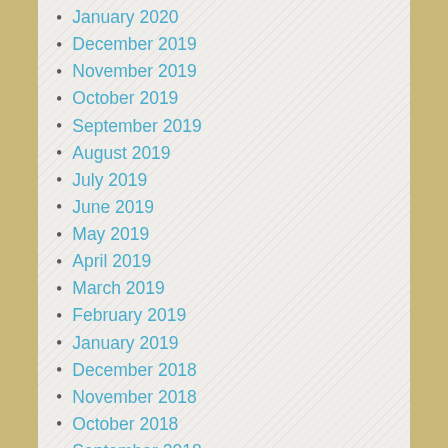January 2020
December 2019
November 2019
October 2019
September 2019
August 2019
July 2019
June 2019
May 2019
April 2019
March 2019
February 2019
January 2019
December 2018
November 2018
October 2018
September 2018
August 2018
July 2018
June 2018